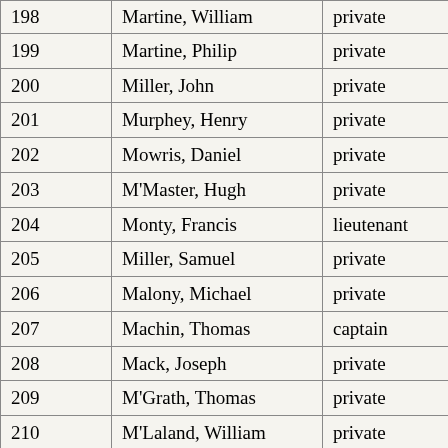| # | Name | Rank | Amount |
| --- | --- | --- | --- |
| 198 | Martine, William | private | 30 |
| 199 | Martine, Philip | private | 36 |
| 200 | Miller, John | private | 30 |
| 201 | Murphey, Henry | private | 24 |
| 202 | Mowris, Daniel | private | 24 |
| 203 | M'Master, Hugh | private | 12 |
| 204 | Monty, Francis | lieutenant | 80 |
| 205 | Miller, Samuel | private | 60 |
| 206 | Malony, Michael | private | 60 |
| 207 | Machin, Thomas | captain | 120 |
| 208 | Mack, Joseph | private | 24 |
| 209 | M'Grath, Thomas | private | 30 |
| 210 | M'Laland, William | private | 60 |
| 211 | M'Donald, Donald | hostler | 30 |
| 212 | Nealy, Abraham | lieutenant | 120 |
| 213 | Newkirk, Jacob | private | 36 |
| 214 | Nicholls, David | corporal | 48 |